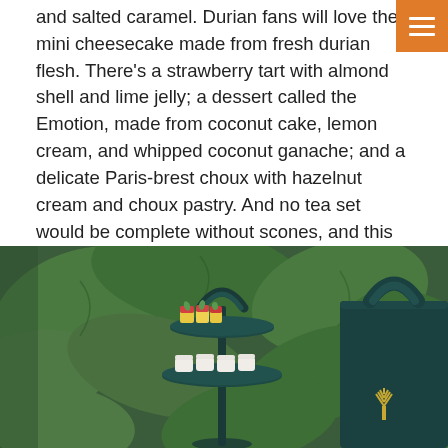and salted caramel. Durian fans will love the mini cheesecake made from fresh durian flesh. There’s a strawberry tart with almond shell and lime jelly; a dessert called the Emotion, made from coconut cake, lemon cream, and whipped coconut ganache; and a delicate Paris-brest choux with hazelnut cream and choux pastry. And no tea set would be complete without scones, and this one feature Altitude’s classic and matcha scones paired with delicious homemade jam and authentic clotted cream, which we loved. The set comes complete with your choice of two premium Harney & Sons teas. (We chose smoked Earl Grey and Egyptian chamomile.)
[Figure (photo): A tall dark green tiered cake/pastry stand with a handle, surrounded by lush tropical green leaves. On the stand are colorful petit fours and small desserts. A large dark green bag with a gold tree logo is visible on the right.]